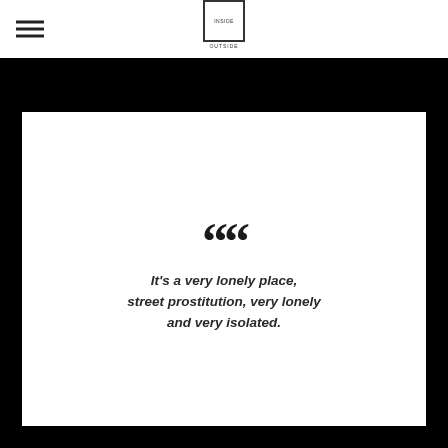[Figure (logo): Inside Outside logo — a small square with text INSIDE above OUTSIDE below, with hamburger menu icon to the left]
It's a very lonely place, street prostitution, very lonely and very isolated.